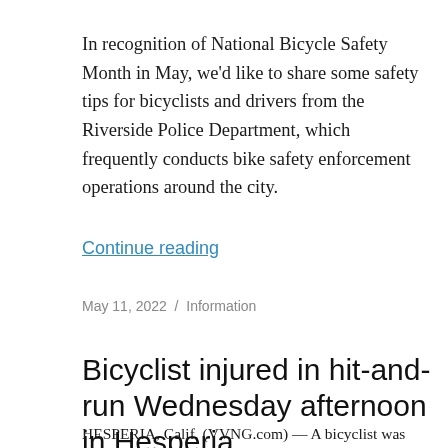In recognition of National Bicycle Safety Month in May, we'd like to share some safety tips for bicyclists and drivers from the Riverside Police Department, which frequently conducts bike safety enforcement operations around the city.
Continue reading
May 11, 2022  /  Information
Bicyclist injured in hit-and-run Wednesday afternoon in Hesperia
HESPERIA, Calif. (VVNG.com) — A bicyclist was